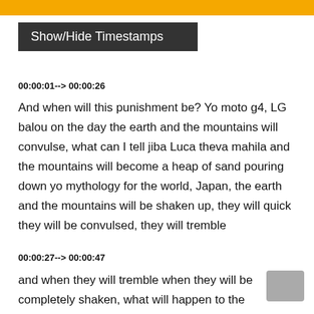Show/Hide Timestamps
00:00:01--> 00:00:26
And when will this punishment be? Yo moto g4, LG balou on the day the earth and the mountains will convulse, what can I tell jiba Luca theva mahila and the mountains will become a heap of sand pouring down yo mythology for the world, Japan, the earth and the mountains will be shaken up, they will quick they will be convulsed, they will tremble
00:00:27--> 00:00:47
and when they will tremble when they will be completely shaken, what will happen to the mountains What can I tell you bamboo, Cassie Eva